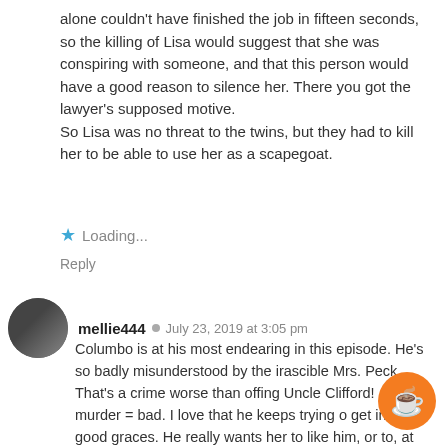alone couldn't have finished the job in fifteen seconds, so the killing of Lisa would suggest that she was conspiring with someone, and that this person would have a good reason to silence her. There you got the lawyer's supposed motive.
So Lisa was no threat to the twins, but they had to kill her to be able to use her as a scapegoat.
Loading...
Reply
mellie444  July 23, 2019 at 3:05 pm
Columbo is at his most endearing in this episode. He's so badly misunderstood by the irascible Mrs. Peck. That's a crime worse than offing Uncle Clifford! Jk, murder = bad. I love that he keeps trying o get in her good graces. He really wants her to like him, or to, at least, stop yelling at him. I love him for that. Julie Newmar's character, while lovely and um transcendental, reads Columbo all wrong. I like this lot. Clever plot, good pace, nice distractions (cookin and an extra rumpled Columbo.